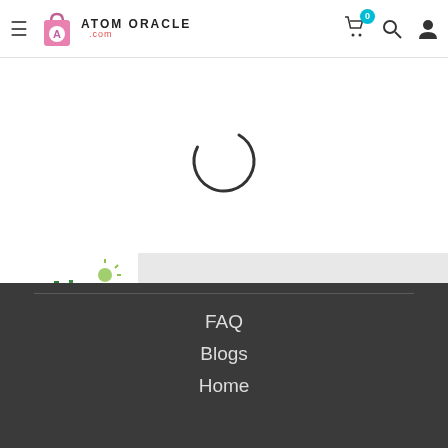Atom Oracle .com — navigation header with hamburger menu, logo, cart (0), search, and user icons
[Figure (other): Loading spinner — a circular arc spinner indicating content is loading]
[Figure (illustration): Green earth globe with city skyline and vegetation, representing sustainability]
What Do We Believe
We believe in fair, sustainable future. One Where everyone thrives on a healthy planet.
FAQ
Blogs
Home